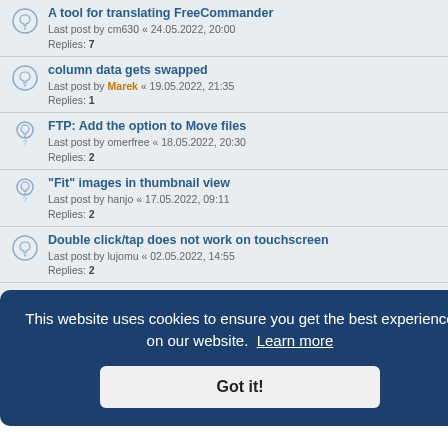A tool for translating FreeCommander
Last post by cm630 « 24.05.2022, 20:00
Replies: 7
column data gets swapped
Last post by Marek « 19.05.2022, 21:35
Replies: 1
FTP: Add the option to Move files
Last post by omerfree « 18.05.2022, 20:30
Replies: 2
"Fit" images in thumbnail view
Last post by hanjo « 17.05.2022, 09:11
Replies: 2
Double click/tap does not work on touchscreen
Last post by lujomu « 02.05.2022, 14:55
Replies: 2
Quick Search: make case insensitive
Last post by haukebasse « 28.04.2022, 21:39
Replies: 2
866_868 • Position of Folder menu in address bar
This website uses cookies to ensure you get the best experience on our website. Learn more
Got it!
Style developer by "forum tricolor", Powered by phpBB® Forum Software © phpBB Limited